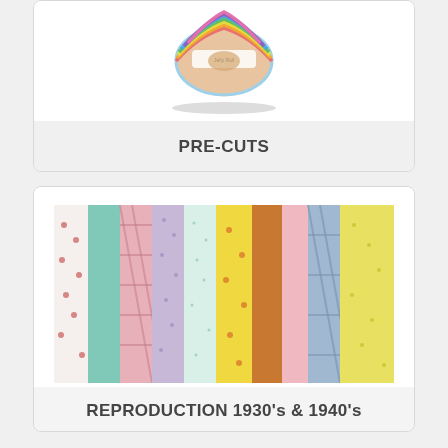[Figure (photo): Rolled fabric jelly roll pre-cuts with colorful strips bundled together]
PRE-CUTS
[Figure (photo): Multiple bolts of reproduction 1930s and 1940s style fabrics standing upright, showing floral, plaid, and dotted patterns in pastel and warm colors]
REPRODUCTION 1930's & 1940's